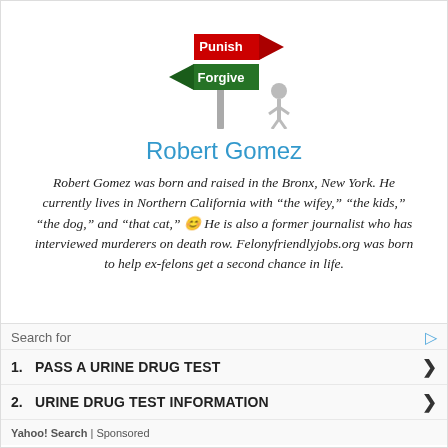[Figure (illustration): Street sign illustration with two arrow signs on a pole: a red arrow pointing right labeled 'Punish' and a green arrow pointing left labeled 'Forgive', with a small grey figure standing to the right of the pole]
Robert Gomez
Robert Gomez was born and raised in the Bronx, New York. He currently lives in Northern California with “the wifey,” “the kids,” “the dog,” and “that cat,” 😊 He is also a former journalist who has interviewed murderers on death row. Felonyfriendlyjobs.org was born to help ex-felons get a second chance in life.
Search for
1. PASS A URINE DRUG TEST
2. URINE DRUG TEST INFORMATION
Yahoo! Search | Sponsored